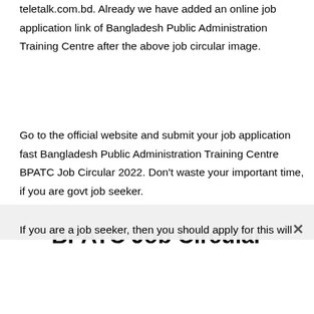teletalk.com.bd. Already we have added an online job application link of Bangladesh Public Administration Training Centre after the above job circular image.
Go to the official website and submit your job application fast Bangladesh Public Administration Training Centre BPATC Job Circular 2022. Don’t waste your important time, if you are govt job seeker.
BPATC Job Circular
If you are a job seeker, then you should apply for this will